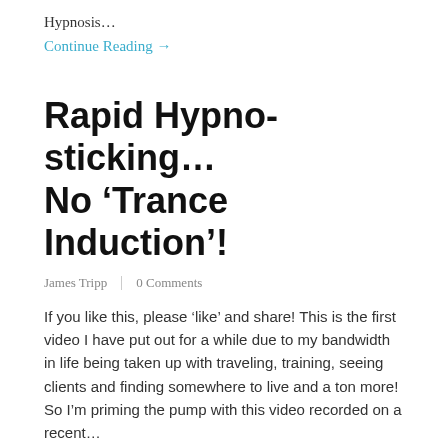Hypnosis…
Continue Reading →
Rapid Hypno-sticking… No ‘Trance Induction’!
James Tripp | 0 Comments
If you like this, please ‘like’ and share! This is the first video I have put out for a while due to my bandwidth in life being taken up with traveling, training, seeing clients and finding somewhere to live and a ton more! So I’m priming the pump with this video recorded on a recent…
Continue Reading →
Stage Hypnosis Style